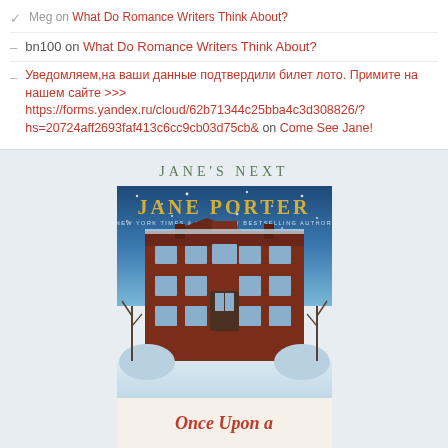Meg on What Do Romance Writers Think About?
bn100 on What Do Romance Writers Think About?
Уведомляем,на ваши данные подтвердили билет лото. Примите на нашем сайте >>> https://forms.yandex.ru/cloud/62b71344c25bba4c3d308826/?hs=20724aff2693faf413c6cc9cb03d75cb& on Come See Jane!
JANE'S NEXT
[Figure (illustration): Book cover for 'Once Upon a Christmas' by Jane Porter. Shows a large red brick Georgian mansion in winter with snow falling. Author name 'Jane Porter' appears in gold letters at the top, subtitle 'New York Times & USA Today Bestselling Author'. Bottom portion shows red cursive text 'Once Upon a Christmas'.]